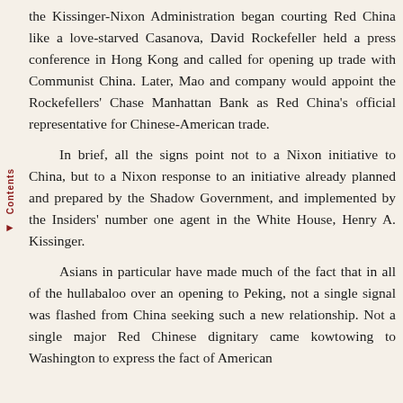the Kissinger-Nixon Administration began courting Red China like a love-starved Casanova, David Rockefeller held a press conference in Hong Kong and called for opening up trade with Communist China. Later, Mao and company would appoint the Rockefellers' Chase Manhattan Bank as Red China's official representative for Chinese-American trade.
In brief, all the signs point not to a Nixon initiative to China, but to a Nixon response to an initiative already planned and prepared by the Shadow Government, and implemented by the Insiders' number one agent in the White House, Henry A. Kissinger.
Asians in particular have made much of the fact that in all of the hullabaloo over an opening to Peking, not a single signal was flashed from China seeking such a new relationship. Not a single major Red Chinese dignitary came kowtowing to Washington to express the fact of American...